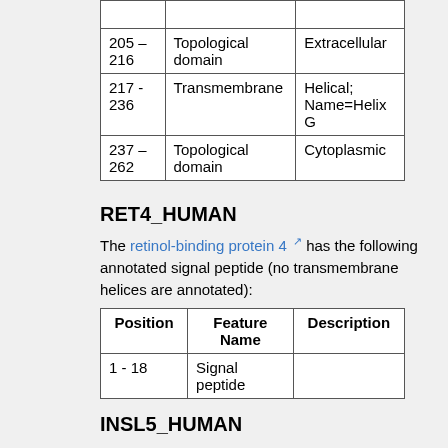| Position | Feature Name | Description |
| --- | --- | --- |
|  |  |  |
| 205 – 216 | Topological domain | Extracellular |
| 217 - 236 | Transmembrane | Helical; Name=Helix G |
| 237 – 262 | Topological domain | Cytoplasmic |
RET4_HUMAN
The retinol-binding protein 4 [external link] has the following annotated signal peptide (no transmembrane helices are annotated):
| Position | Feature Name | Description |
| --- | --- | --- |
| 1 - 18 | Signal peptide |  |
INSL5_HUMAN
The Insulin-like peptide INSL5 [external link] has the following annotated signal peptide (no transmembrane helices are annotated):
| Position | Feature Name | Description |
| --- | --- | --- |